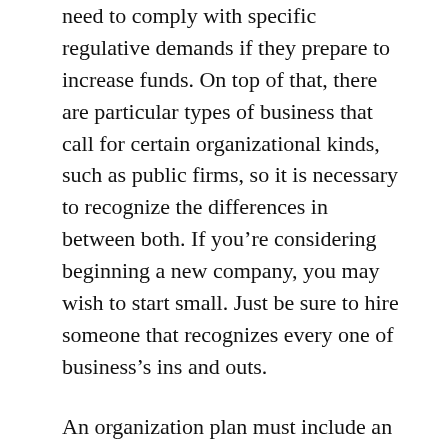need to comply with specific regulative demands if they prepare to increase funds. On top of that, there are particular types of business that call for certain organizational kinds, such as public firms, so it is necessary to recognize the differences in between both. If you're considering beginning a new company, you may wish to start small. Just be sure to hire someone that recognizes every one of business's ins and outs.
An organization plan must include an analysis of the annual report. The analysis ought to be quick, but cover all important points. There are also various other papers that might be of passion to the reader. A return to, agreements with distributors and clients, letters of intent, and also copies of lawful papers are all good things to consist of in a business strategy. Last but not least, a business strategy must include your income tax return from